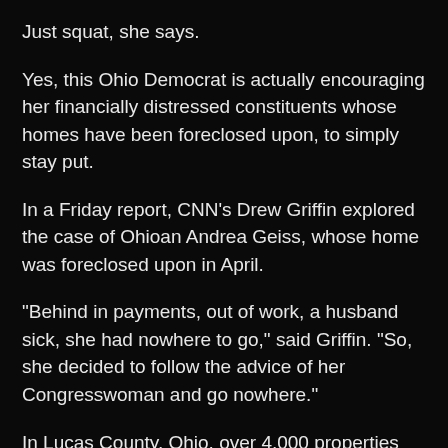Just squat, she says.
Yes, this Ohio Democrat is actually encouraging her financially distressed constituents whose homes have been foreclosed upon, to simply stay put.
In a Friday report, CNN's Drew Griffin explored the case of Ohioan Andrea Geiss, whose home was foreclosed upon in April.
“Behind in payments, out of work, a husband sick, she had nowhere to go,” said Griffin. “So, she decided to follow the advice of her Congresswoman and go nowhere.”
In Lucas County, Ohio, over 4,000 properties were foreclosed upon in 2008, reports CNN.